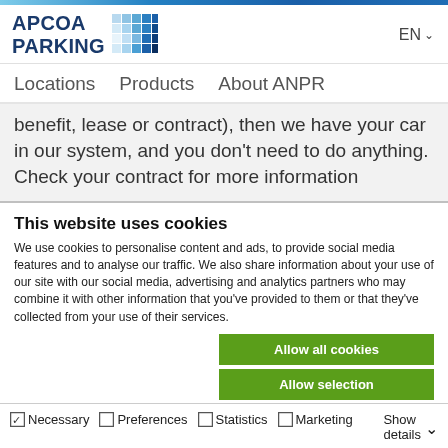[Figure (logo): APCOA PARKING logo with blue grid icon]
EN
Locations   Products   About ANPR
benefit, lease or contract), then we have your car in our system, and you don't need to do anything. Check your contract for more information
This website uses cookies
We use cookies to personalise content and ads, to provide social media features and to analyse our traffic. We also share information about your use of our site with our social media, advertising and analytics partners who may combine it with other information that you've provided to them or that they've collected from your use of their services.
Allow all cookies
Allow selection
Use necessary cookies only
Necessary  Preferences  Statistics  Marketing  Show details